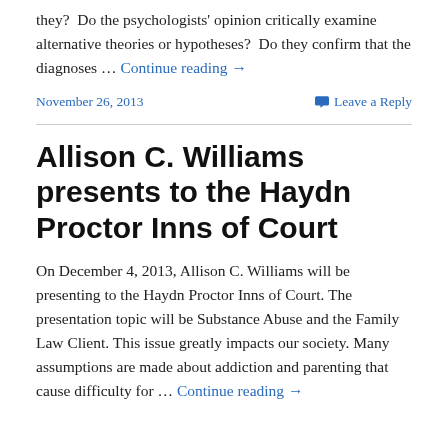they?  Do the psychologists' opinion critically examine alternative theories or hypotheses?  Do they confirm that the diagnoses … Continue reading →
November 26, 2013
Leave a Reply
Allison C. Williams presents to the Haydn Proctor Inns of Court
On December 4, 2013, Allison C. Williams will be presenting to the Haydn Proctor Inns of Court. The presentation topic will be Substance Abuse and the Family Law Client. This issue greatly impacts our society. Many assumptions are made about addiction and parenting that cause difficulty for … Continue reading →